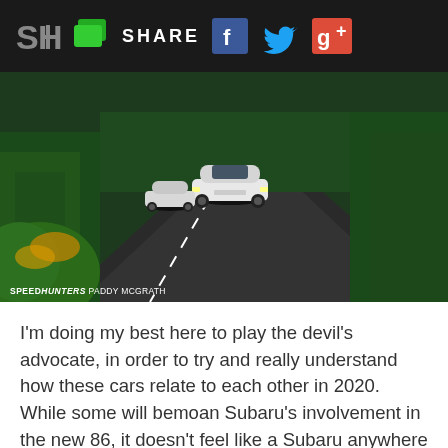SH | SHARE [social icons: Facebook, Twitter, Google+]
[Figure (photo): Two white sports cars (Toyota 86/Subaru BRZ style) driving on a winding road surrounded by green trees. Photo credit: SPEEDHUNTERS PADDY MCGRATH]
I'm doing my best here to play the devil's advocate, in order to try and really understand how these cars relate to each other in 2020. While some will bemoan Subaru's involvement in the new 86, it doesn't feel like a Subaru anywhere except the engine. Looking around the car, you get the feeling that Toyota were